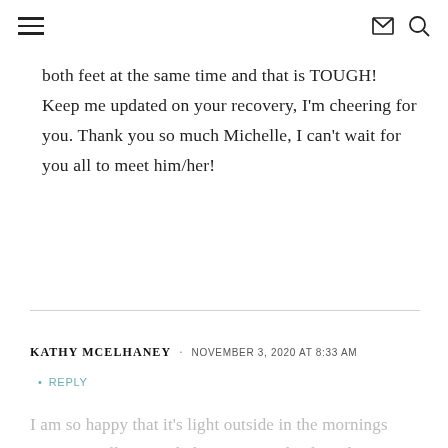≡  ✉ 🔍
both feet at the same time and that is TOUGH! Keep me updated on your recovery, I'm cheering for you. Thank you so much Michelle, I can't wait for you all to meet him/her!
KATHY MCELHANEY · NOVEMBER 3, 2020 AT 8:33 AM
REPLY
I am so happy that it's light outside in the mornings again! I really struggled getting out the door the past